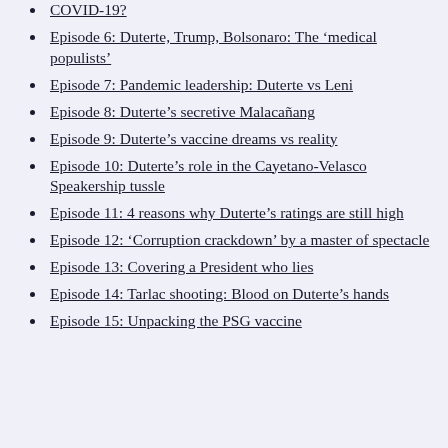COVID-19?
Episode 6: Duterte, Trump, Bolsonaro: The ‘medical populists’
Episode 7: Pandemic leadership: Duterte vs Leni
Episode 8: Duterte’s secretive Malacañang
Episode 9: Duterte’s vaccine dreams vs reality
Episode 10: Duterte’s role in the Cayetano-Velasco Speakership tussle
Episode 11: 4 reasons why Duterte’s ratings are still high
Episode 12: ‘Corruption crackdown’ by a master of spectacle
Episode 13: Covering a President who lies
Episode 14: Tarlac shooting: Blood on Duterte’s hands
Episode 15: Unpacking the PSG vaccine